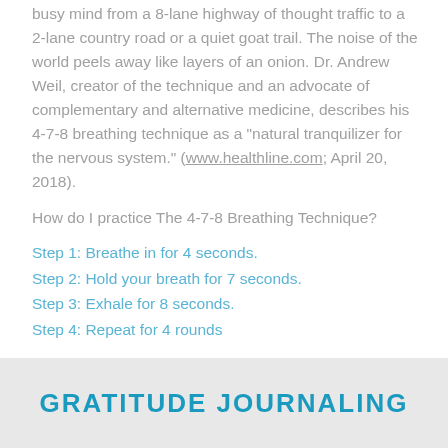busy mind from a 8-lane highway of thought traffic to a 2-lane country road or a quiet goat trail. The noise of the world peels away like layers of an onion. Dr. Andrew Weil, creator of the technique and an advocate of complementary and alternative medicine, describes his 4-7-8 breathing technique as a "natural tranquilizer for the nervous system." (www.healthline.com; April 20, 2018).
How do I practice The 4-7-8 Breathing Technique?
Step 1: Breathe in for 4 seconds.
Step 2: Hold your breath for 7 seconds.
Step 3: Exhale for 8 seconds.
Step 4: Repeat for 4 rounds
GRATITUDE JOURNALING